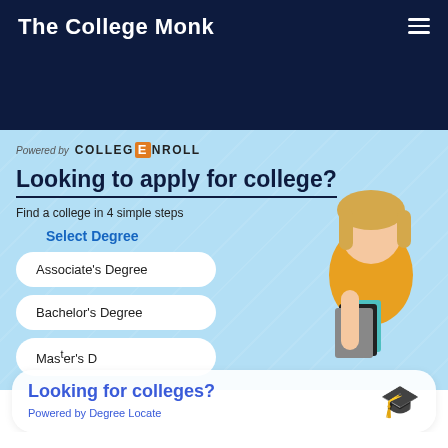The College Monk
[Figure (screenshot): College enrollment widget with light blue background, student photo, degree selection buttons, and CollegEnroll branding]
Powered by COLLEGE NROLL
Looking to apply for college?
Find a college in 4 simple steps
Select Degree
Associate's Degree
Bachelor's Degree
Master's Degree
Looking for colleges? Powered by Degree Locate